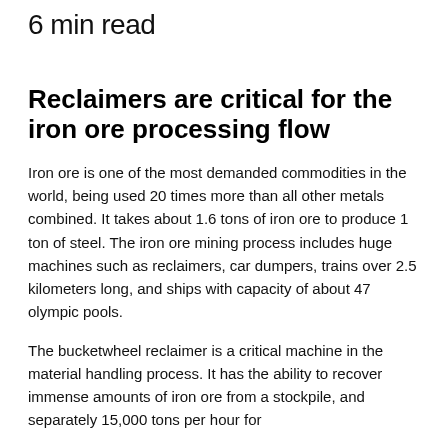6 min read
Reclaimers are critical for the iron ore processing flow
Iron ore is one of the most demanded commodities in the world, being used 20 times more than all other metals combined. It takes about 1.6 tons of iron ore to produce 1 ton of steel. The iron ore mining process includes huge machines such as reclaimers, car dumpers, trains over 2.5 kilometers long, and ships with capacity of about 47 olympic pools.
The bucketwheel reclaimer is a critical machine in the material handling process. It has the ability to recover immense amounts of iron ore from a stockpile, and separately 15,000 tons per hour for